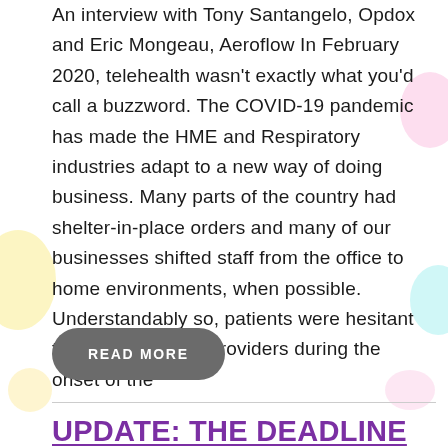An interview with Tony Santangelo, Opdox and Eric Mongeau, Aeroflow In February 2020, telehealth wasn't exactly what you'd call a buzzword. The COVID-19 pandemic has made the HME and Respiratory industries adapt to a new way of doing business. Many parts of the country had shelter-in-place orders and many of our businesses shifted staff from the office to home environments, when possible. Understandably so, patients were hesitant to visit healthcare providers during the onset of the
READ MORE
UPDATE: THE DEADLINE TO APPLY FOR PHASE 2